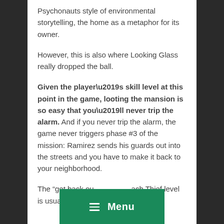Psychonauts style of environmental storytelling, the home as a metaphor for its owner.
However, this is also where Looking Glass really dropped the ball.
Given the player’s skill level at this point in the game, looting the mansion is so easy that you’ll never trip the alarm. And if you never trip the alarm, the game never triggers phase #3 of the mission: Ramirez sends his guards out into the streets and you have to make it back to your neighborhood.
The “get back ou... ach Thief level is usually pretty ... acktrack
[Figure (screenshot): Green menu button overlay with hamburger icon and 'Menu' text]